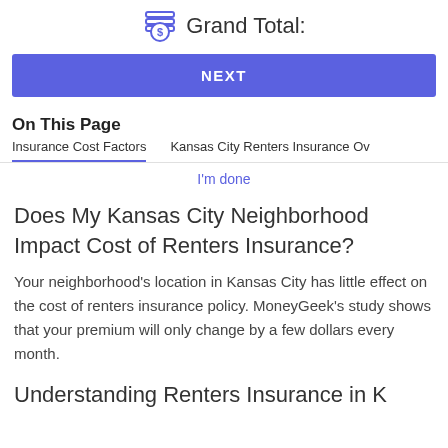Grand Total:
NEXT
On This Page
Insurance Cost Factors
Kansas City Renters Insurance Ov
I'm done
Does My Kansas City Neighborhood Impact Cost of Renters Insurance?
Your neighborhood's location in Kansas City has little effect on the cost of renters insurance policy. MoneyGeek's study shows that your premium will only change by a few dollars every month.
Understanding Renters Insurance in K